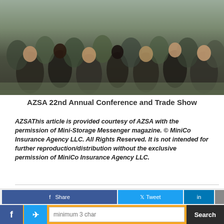[Figure (photo): Crowd of people seated at tables at the AZSA 22nd Annual Conference and Trade Show]
AZSA 22nd Annual Conference and Trade Show
AZSAThis article is provided courtesy of AZSA with the permission of Mini-Storage Messenger magazine. © MiniCo Insurance Agency LLC. All Rights Reserved. It is not intended for further reproduction/distribution without the exclusive permission of MiniCo Insurance Agency LLC.
http://www.ministoragemessenger.com
Printer-Friendly Version